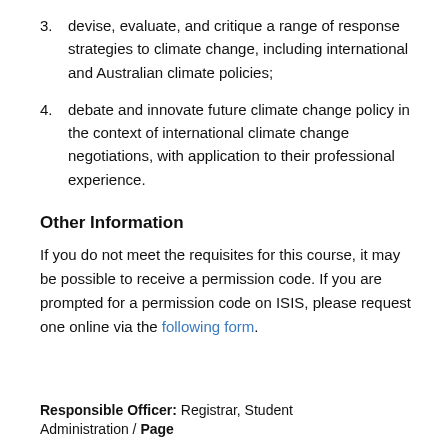3. devise, evaluate, and critique a range of response strategies to climate change, including international and Australian climate policies;
4. debate and innovate future climate change policy in the context of international climate change negotiations, with application to their professional experience.
Other Information
If you do not meet the requisites for this course, it may be possible to receive a permission code. If you are prompted for a permission code on ISIS, please request one online via the following form.
Responsible Officer: Registrar, Student Administration / Page